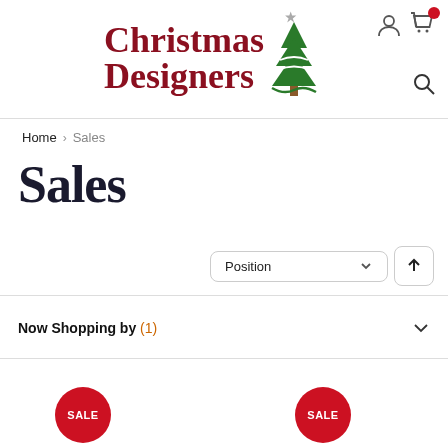[Figure (logo): Christmas Designers logo with red serif text and green Christmas tree graphic]
Home > Sales
Sales
Position (dropdown) and sort direction button
Now Shopping by (1)
[Figure (infographic): Two red SALE circular badges at bottom of page]